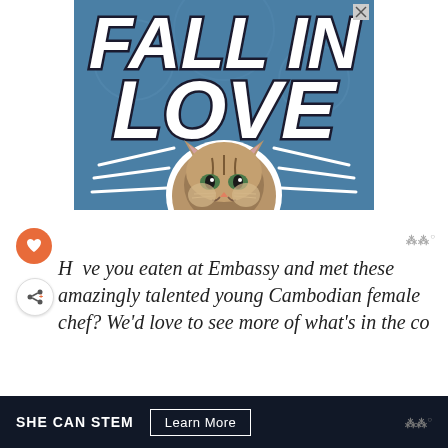[Figure (illustration): Advertisement banner with blue background showing 'FALL IN LOVE' text in large bold italic white letters with dark outline, a tabby cat sticker in the center bottom, decorative white diagonal lines radiating from the cat, and a close button (X) in the top right corner.]
[Figure (illustration): Orange circular heart/favorite button icon on the left side]
[Figure (illustration): White circular share button with arrow icon and plus sign]
Have you eaten at Embassy and met these amazingly talented young Cambodian female chef? We'd love to see more of what's in the co
[Figure (logo): WW logo (Weight Watchers) in top right]
[Figure (logo): WW logo in bottom bar]
SHE CAN STEM
Learn More